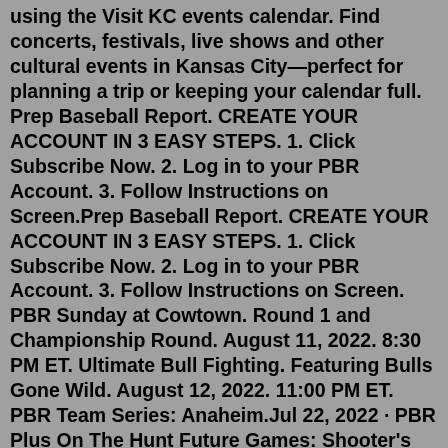using the Visit KC events calendar. Find concerts, festivals, live shows and other cultural events in Kansas City—perfect for planning a trip or keeping your calendar full. Prep Baseball Report. CREATE YOUR ACCOUNT IN 3 EASY STEPS. 1. Click Subscribe Now. 2. Log in to your PBR Account. 3. Follow Instructions on Screen.Prep Baseball Report. CREATE YOUR ACCOUNT IN 3 EASY STEPS. 1. Click Subscribe Now. 2. Log in to your PBR Account. 3. Follow Instructions on Screen. PBR Sunday at Cowtown. Round 1 and Championship Round. August 11, 2022. 8:30 PM ET. Ultimate Bull Fighting. Featuring Bulls Gone Wild. August 12, 2022. 11:00 PM ET. PBR Team Series: Anaheim.Jul 22, 2022 · PBR Plus On The Hunt Future Games: Shooter's Cheat Sheet 7/25/2022 A look at some initial names to follow heading into the country's best event that includes players from across the country. PBR Plus Rankings Final 2022 Overall Rankings 7/22/2022 After 4 years of scouting and evaluating, the '22 class moves on to the professional and collegiate